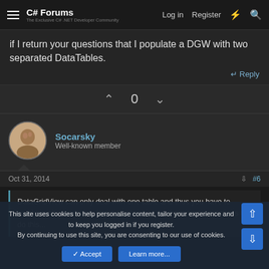C# Forums — The Exclusive C# .NET Developer Community | Log in | Register
if I return your questions that I populate a DGW with two separated DataTables.
↩ Reply
^ 0 v
Socarsky
Well-known member
Oct 31, 2014 #6
DataGridView can only deal with one table and thus you have to combine all your tables into a single one. You have various options to do this...
This site uses cookies to help personalise content, tailor your experience and to keep you logged in if you register.
By continuing to use this site, you are consenting to our use of cookies.
Accept  Learn more...